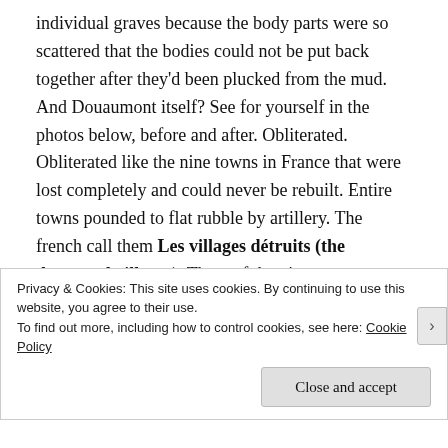individual graves because the body parts were so scattered that the bodies could not be put back together after they'd been plucked from the mud. And Douaumont itself? See for yourself in the photos below, before and after. Obliterated. Obliterated like the nine towns in France that were lost completely and could never be rebuilt. Entire towns pounded to flat rubble by artillery. The french call them Les villages détruits (the destroyed villages). Three of the nine were eventually rebuilt. The other six are still entirely unpopulated, only remnants of rubble remaining as testament, villages that died for France. French farmers
Privacy & Cookies: This site uses cookies. By continuing to use this website, you agree to their use.
To find out more, including how to control cookies, see here: Cookie Policy